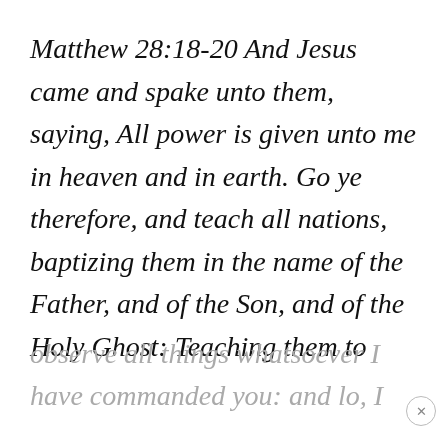Matthew 28:18-20 And Jesus came and spake unto them, saying, All power is given unto me in heaven and in earth. Go ye therefore, and teach all nations, baptizing them in the name of the Father, and of the Son, and of the Holy Ghost: Teaching them to observe all things whatsoever I have commanded you: and lo, I